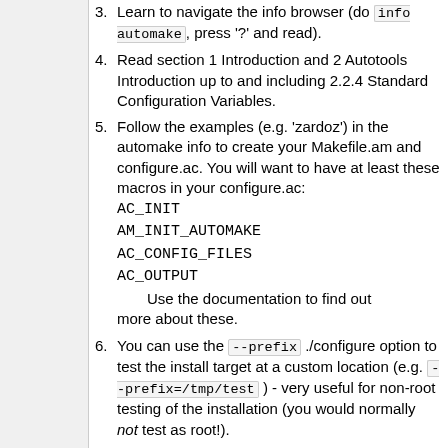3. Learn to navigate the info browser (do info automake, press '?' and read).
4. Read section 1 Introduction and 2 Autotools Introduction up to and including 2.2.4 Standard Configuration Variables.
5. Follow the examples (e.g. 'zardoz') in the automake info to create your Makefile.am and configure.ac. You will want to have at least these macros in your configure.ac: AC_INIT AM_INIT_AUTOMAKE AC_CONFIG_FILES AC_OUTPUT
Use the documentation to find out more about these.
6. You can use the --prefix ./configure option to test the install target at a custom location (e.g. --prefix=/tmp/test) - very useful for non-root testing of the installation (you would normally not test as root!).